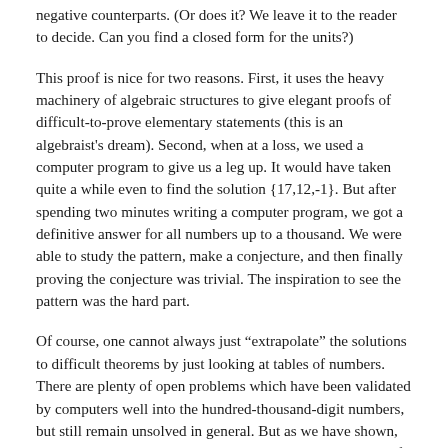negative counterparts. (Or does it? We leave it to the reader to decide. Can you find a closed form for the units?)
This proof is nice for two reasons. First, it uses the heavy machinery of algebraic structures to give elegant proofs of difficult-to-prove elementary statements (this is an algebraist's dream). Second, when at a loss, we used a computer program to give us a leg up. It would have taken quite a while even to find the solution {17,12,-1}. But after spending two minutes writing a computer program, we got a definitive answer for all numbers up to a thousand. We were able to study the pattern, make a conjecture, and then finally proving the conjecture was trivial. The inspiration to see the pattern was the hard part.
Of course, one cannot always just “extrapolate” the solutions to difficult theorems by just looking at tables of numbers. There are plenty of open problems which have been validated by computers well into the hundred-thousand-digit numbers, but still remain unsolved in general. But as we have shown, computers can give one a nudge in the right direction, and if there’s nobody to provide a helpful hint (and no solution to look up online), the program provide the most efficient